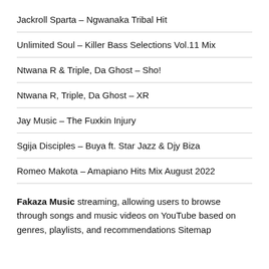Jackroll Sparta – Ngwanaka Tribal Hit
Unlimited Soul – Killer Bass Selections Vol.11 Mix
Ntwana R & Triple, Da Ghost – Sho!
Ntwana R, Triple, Da Ghost – XR
Jay Music – The Fuxkin Injury
Sgija Disciples – Buya ft. Star Jazz & Djy Biza
Romeo Makota – Amapiano Hits Mix August 2022
Fakaza Music streaming, allowing users to browse through songs and music videos on YouTube based on genres, playlists, and recommendations Sitemap